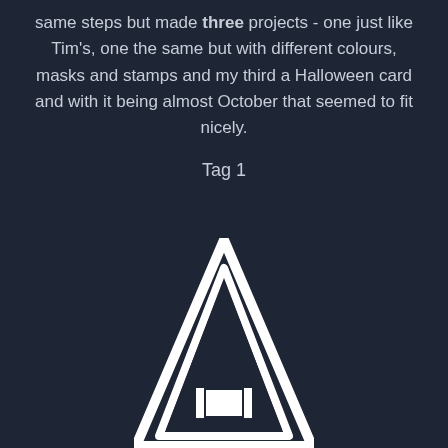same steps but made three projects - one just like Tim's, one the same but with different colours, masks and stamps and my third a Halloween card and with it being almost October that seemed to fit nicely.
Tag 1
[Figure (illustration): A white outline illustration of a letter A or triangle/arrow shape on a dark background, partially cut off at the bottom of the page.]